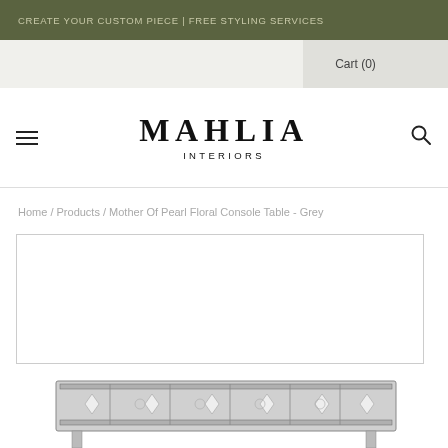CREATE YOUR CUSTOM PIECE | FREE STYLING SERVICES
Cart (0)
MAHLIA
INTERIORS
Home / Products / Mother Of Pearl Floral Console Table - Grey
[Figure (photo): Mother Of Pearl Floral Console Table in Grey with intricate geometric inlay pattern, partially visible at bottom of page]